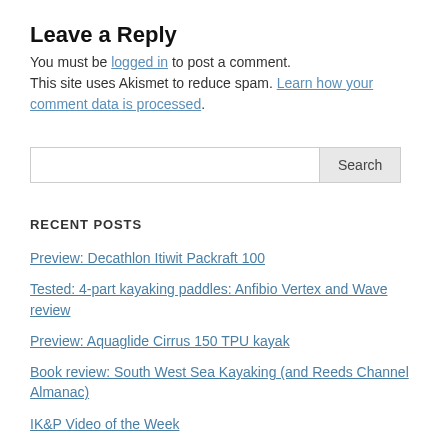Leave a Reply
You must be logged in to post a comment. This site uses Akismet to reduce spam. Learn how your comment data is processed.
[Figure (other): Search input field with Search button]
RECENT POSTS
Preview: Decathlon Itiwit Packraft 100
Tested: 4-part kayaking paddles: Anfibio Vertex and Wave review
Preview: Aquaglide Cirrus 150 TPU kayak
Book review: South West Sea Kayaking (and Reeds Channel Almanac)
IK&P Video of the Week
Packrafting the Jurassic Coast (video)